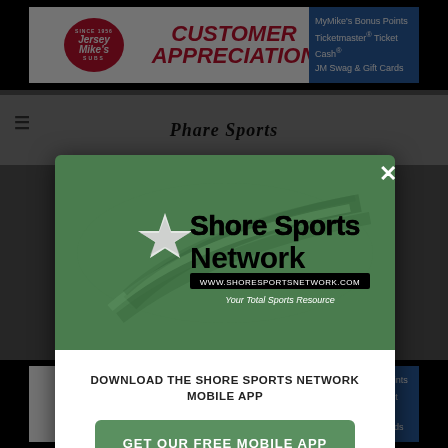[Figure (screenshot): Jersey Mike's Customer Appreciation banner advertisement at top of page showing logo, 'CUSTOMER APPRECIATION' text in red, and MyMike's Bonus Points, Ticketmaster Ticket Cash, JM Swag & Gift Cards on blue background]
[Figure (screenshot): Dark overlay with Shore Sports Network modal popup. Green top section shows Shore Sports Network logo with star and swirl design, URL www.shoresportsnetwork.com, and tagline 'Your Total Sports Resource'. White bottom section shows download prompt.]
DOWNLOAD THE SHORE SPORTS NETWORK MOBILE APP
GET OUR FREE MOBILE APP
[Figure (screenshot): Jersey Mike's Customer Appreciation banner advertisement at bottom of page, same as top banner]